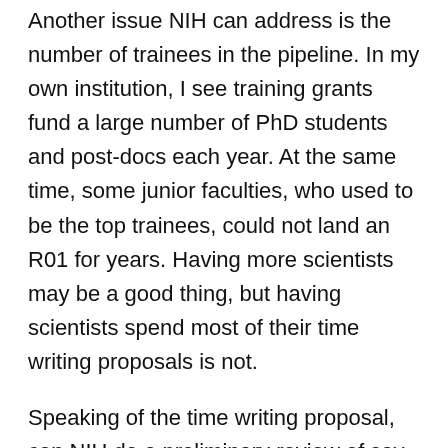Another issue NIH can address is the number of trainees in the pipeline. In my own institution, I see training grants fund a large number of PhD students and post-docs each year. At the same time, some junior faculties, who used to be the top trainees, could not land an R01 for years. Having more scientists may be a good thing, but having scientists spend most of their time writing proposals is not.
Speaking of the time writing proposal, can NIH do a preliminary review of say a 5-page concept paper paper before we write the full proposal with all the administrative information? Or, how about just the 12 page first? That would cut down 50-80% of the pre-award admin work and save the PI a lot of time